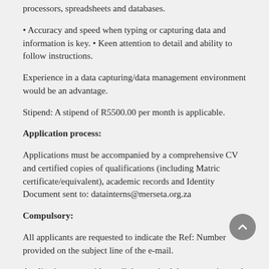processors, spreadsheets and databases.
• Accuracy and speed when typing or capturing data and information is key. • Keen attention to detail and ability to follow instructions.
Experience in a data capturing/data management environment would be an advantage.
Stipend: A stipend of R5500.00 per month is applicable.
Application process:
Applications must be accompanied by a comprehensive CV and certified copies of qualifications (including Matric certificate/equivalent), academic records and Identity Document sent to: datainterns@merseta.org.za
Compulsory:
All applicants are requested to indicate the Ref: Number provided on the subject line of the e-mail.
Applications sent without all the required documentation and